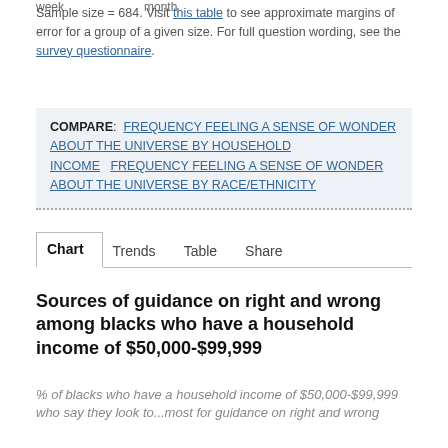week    month
Sample size = 684. Visit this table to see approximate margins of error for a group of a given size. For full question wording, see the survey questionnaire.
COMPARE:  FREQUENCY FEELING A SENSE OF WONDER ABOUT THE UNIVERSE BY HOUSEHOLD INCOME   FREQUENCY FEELING A SENSE OF WONDER ABOUT THE UNIVERSE BY RACE/ETHNICITY
Chart   Trends   Table   Share
Sources of guidance on right and wrong among blacks who have a household income of $50,000-$99,999
% of blacks who have a household income of $50,000-$99,999 who say they look to...most for guidance on right and wrong